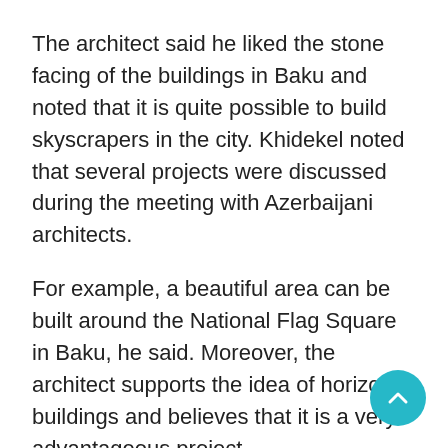The architect said he liked the stone facing of the buildings in Baku and noted that it is quite possible to build skyscrapers in the city. Khidekel noted that several projects were discussed during the meeting with Azerbaijani architects.
For example, a beautiful area can be built around the National Flag Square in Baku, he said. Moreover, the architect supports the idea of horizontal buildings and believes that it is a very advantageous project.
Khidekel said it is possible to construct such buildings in Baku as well, noting that thereby, Baku can become the first capital city with horizontal buildings.
The architect expressed readiness to work on such project in Azerbaijan if he receives a proposal